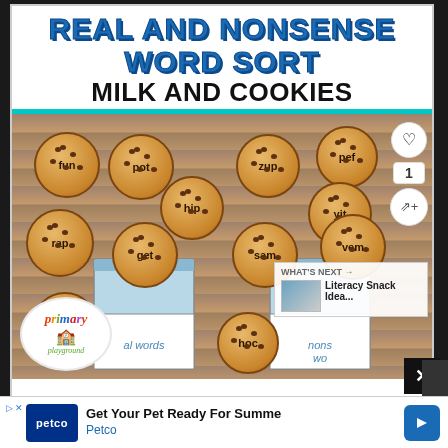REAL AND NONSENSE WORD SORT MILK AND COOKIES
[Figure (photo): Educational word sort activity with cookie-shaped cards showing real words (fun, rap, pot, hip, get, tub) and nonsense words (zup, pef, yit, sam, vem, hoc) placed around two milk glass containers labeled 'real words' and 'nonsense words'. Background is a wooden surface. Primary Playground logo visible.]
WHAT'S NEXT → Literacy Snack Idea...
Get Your Pet Ready For Summe Petco